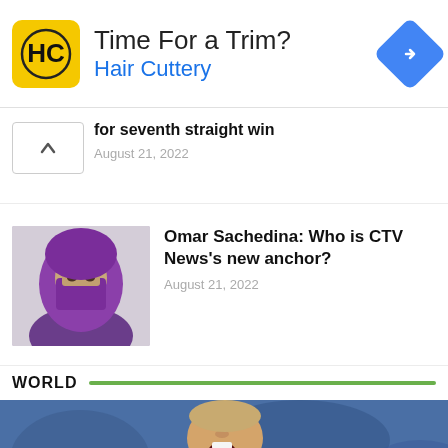[Figure (screenshot): Hair Cuttery advertisement banner with yellow HC logo, 'Time For a Trim?' headline, blue 'Hair Cuttery' subtitle, and blue diamond navigation icon]
for seventh straight win
August 21, 2022
[Figure (photo): Person wearing a purple hijab/face covering against a light wall]
Omar Sachedina: Who is CTV News's new anchor?
August 21, 2022
WORLD
[Figure (photo): Man looking upward with mouth open, blue blurred background, crowd scene]